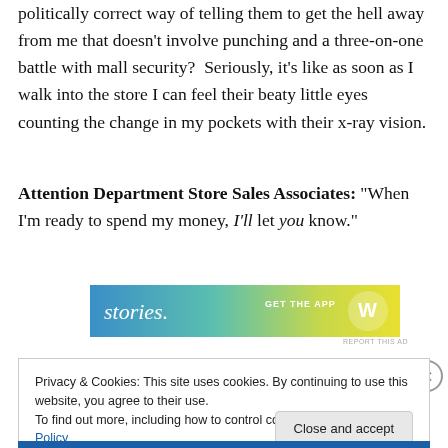politically correct way of telling them to get the hell away from me that doesn't involve punching and a three-on-one battle with mall security?  Seriously, it's like as soon as I walk into the store I can feel their beaty little eyes counting the change in my pockets with their x-ray vision.
Attention Department Store Sales Associates: “When I’m ready to spend my money, I’ll let you know.”
[Figure (screenshot): Advertisement banner with gradient background (blue to yellow-green), text 'stories.' on the left and 'GET THE APP' on the right with a circular logo]
Privacy & Cookies: This site uses cookies. By continuing to use this website, you agree to their use.
To find out more, including how to control cookies, see here: Cookie Policy
Close and accept